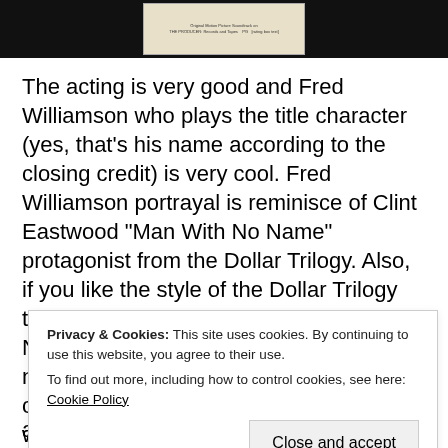[Figure (photo): Black background with a DVD cover image in the center, showing small text including 'Original Motion Picture Soundtrack' and 'PG' rating box]
The acting is very good and Fred Williamson who plays the title character (yes, that’s his name according to the closing credit) is very cool. Fred Williamson portrayal is reminisce of Clint Eastwood “Man With No Name” protagonist from the Dollar Trilogy. Also, if you like the style of the Dollar Trilogy than you’ll find plenty love about “Boss Nigger” filming style. Even with a very notable nod to Clint Eastwood iconic character. I have to mention that this western an awesome theme song and unconventional funky score that gives this its own identity.
Privacy & Cookies: This site uses cookies. By continuing to use this website, you agree to their use.
To find out more, including how to control cookies, see here: Cookie Policy
Close and accept
are the more reason to check it out.